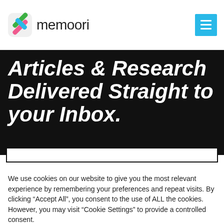memoori
Articles & Research Delivered Straight to your Inbox.
We use cookies on our website to give you the most relevant experience by remembering your preferences and repeat visits. By clicking "Accept All", you consent to the use of ALL the cookies. However, you may visit "Cookie Settings" to provide a controlled consent.
Cookie Settings
Accept All